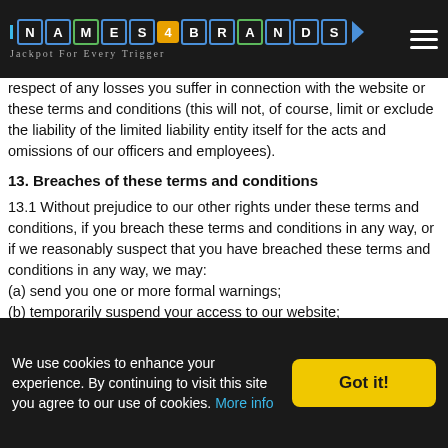Names4Brands – Jackpot For Every Trigger
respect of any losses you suffer in connection with the website or these terms and conditions (this will not, of course, limit or exclude the liability of the limited liability entity itself for the acts and omissions of our officers and employees).
13. Breaches of these terms and conditions
13.1 Without prejudice to our other rights under these terms and conditions, if you breach these terms and conditions in any way, or if we reasonably suspect that you have breached these terms and conditions in any way, we may:
(a) send you one or more formal warnings;
(b) temporarily suspend your access to our website;
(c) permanently prohibit you from accessing our website;
(d) [block computers using your IP address from accessing our website];
(e) [contact any or all of your internet service providers and request that
We use cookies to enhance your experience. By continuing to visit this site you agree to our use of cookies. More info